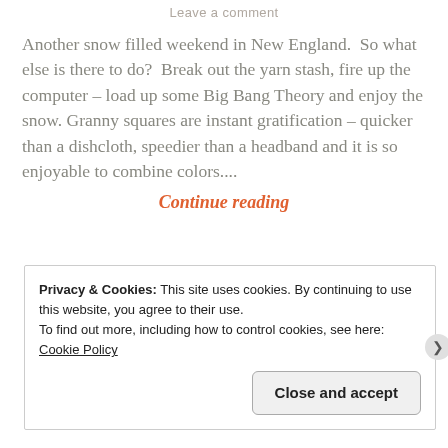Leave a comment
Another snow filled weekend in New England.  So what else is there to do?  Break out the yarn stash, fire up the computer – load up some Big Bang Theory and enjoy the snow. Granny squares are instant gratification – quicker than a dishcloth, speedier than a headband and it is so enjoyable to combine colors....
Continue reading
Privacy & Cookies: This site uses cookies. By continuing to use this website, you agree to their use.
To find out more, including how to control cookies, see here: Cookie Policy
Close and accept